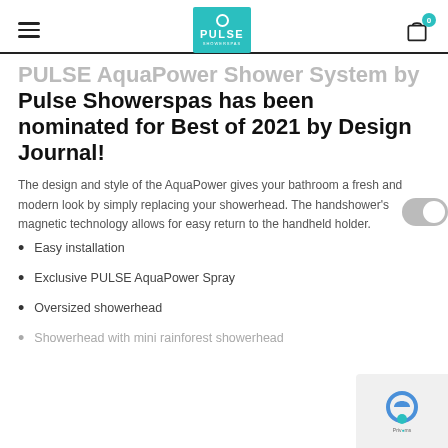PULSE Showerspas — navigation header with logo and cart
PULSE AquaPower Shower System by Pulse Showerspas has been nominated for Best of 2021 by Design Journal!
The design and style of the AquaPower gives your bathroom a fresh and modern look by simply replacing your showerhead. The handshower's magnetic technology allows for easy return to the handheld holder.
Easy installation
Exclusive PULSE AquaPower Spray
Oversized showerhead
Showerhead with mini rainforest showerhead